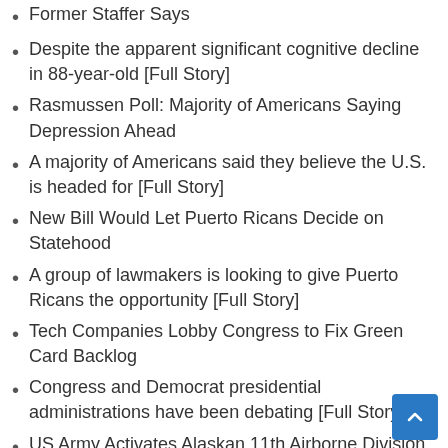Former Staffer Says
Despite the apparent significant cognitive decline in 88-year-old [Full Story]
Rasmussen Poll: Majority of Americans Saying Depression Ahead
A majority of Americans said they believe the U.S. is headed for [Full Story]
New Bill Would Let Puerto Ricans Decide on Statehood
A group of lawmakers is looking to give Puerto Ricans the opportunity [Full Story]
Tech Companies Lobby Congress to Fix Green Card Backlog
Congress and Democrat presidential administrations have been debating [Full Story]
US Army Activates Alaskan 11th Airborne Division as ‘Artic Fighting Force’
The United States Army on Monday activated the new 11thAirborne [Full Story]